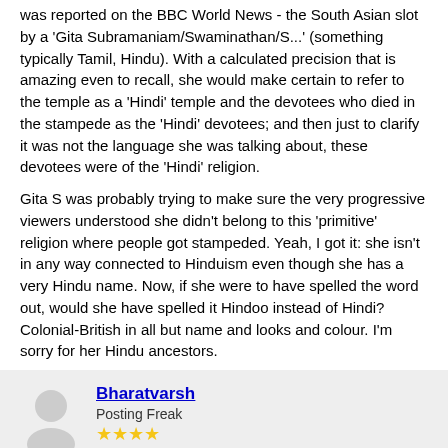was reported on the BBC World News - the South Asian slot by a 'Gita Subramaniam/Swaminathan/S...' (something typically Tamil, Hindu). With a calculated precision that is amazing even to recall, she would make certain to refer to the temple as a 'Hindi' temple and the devotees who died in the stampede as the 'Hindi' devotees; and then just to clarify it was not the language she was talking about, these devotees were of the 'Hindi' religion.
Gita S was probably trying to make sure the very progressive viewers understood she didn't belong to this 'primitive' religion where people got stampeded. Yeah, I got it: she isn't in any way connected to Hinduism even though she has a very Hindu name. Now, if she were to have spelled the word out, would she have spelled it Hindoo instead of Hindi? Colonial-British in all but name and looks and colour. I'm sorry for her Hindu ancestors.
Bharatvarsh
Posting Freak
★★★★
Joined: Apr 2005
Posts: 2,263
Reputation: 0